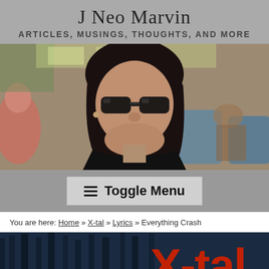J Neo Marvin
ARTICLES, MUSINGS, THOUGHTS, AND MORE
[Figure (photo): Person wearing sunglasses and black clothing, smiling, seated indoors with blue chairs in background. Black hair. Appears to be at a restaurant or lounge.]
Toggle Menu
You are here: Home » X-tal » Lyrics » Everything Crash
[Figure (photo): X-tal album cover or logo, showing red stylized 'X-tal' text over a dark blue-tinted forest/trees background image.]